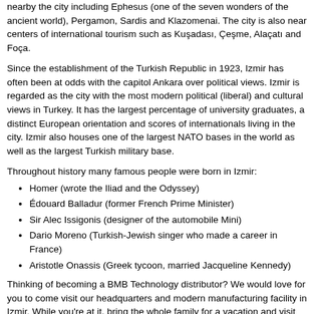nearby the city including Ephesus (one of the seven wonders of the ancient world), Pergamon, Sardis and Klazomenai. The city is also near centers of international tourism such as Kuşadası, Çeşme, Alaçatı and Foça.
Since the establishment of the Turkish Republic in 1923, Izmir has often been at odds with the capitol Ankara over political views. Izmir is regarded as the city with the most modern political (liberal) and cultural views in Turkey. It has the largest percentage of university graduates, a distinct European orientation and scores of internationals living in the city. Izmir also houses one of the largest NATO bases in the world as well as the largest Turkish military base.
Throughout history many famous people were born in Izmir:
Homer (wrote the Iliad and the Odyssey)
Édouard Balladur (former French Prime Minister)
Sir Alec Issigonis (designer of the automobile Mini)
Dario Moreno (Turkish-Jewish singer who made a career in France)
Aristotle Onassis (Greek tycoon, married Jacqueline Kennedy)
Thinking of becoming a BMB Technology distributor? We would love for you to come visit our headquarters and modern manufacturing facility in Izmir. While you're at it, bring the whole family for a vacation and visit the local sites, its BEAUTIFUL!